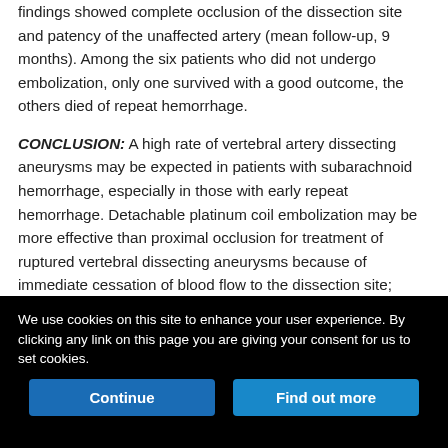findings showed complete occlusion of the dissection site and patency of the unaffected artery (mean follow-up, 9 months). Among the six patients who did not undergo embolization, only one survived with a good outcome, the others died of repeat hemorrhage.
CONCLUSION: A high rate of vertebral artery dissecting aneurysms may be expected in patients with subarachnoid hemorrhage, especially in those with early repeat hemorrhage. Detachable platinum coil embolization may be more effective than proximal occlusion for treatment of ruptured vertebral dissecting aneurysms because of immediate cessation of blood flow to the dissection site; however, in patients with bilateral dissections or hypoplastic contralateral vertebral arteries, prior bypass surgery or stent placement to preserve the artery will be needed.
We use cookies on this site to enhance your user experience. By clicking any link on this page you are giving your consent for us to set cookies.